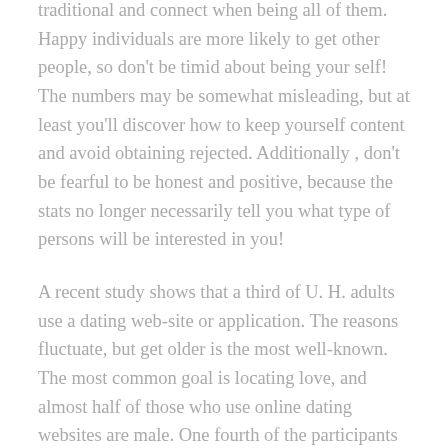traditional and connect when being all of them. Happy individuals are more likely to get other people, so don't be timid about being your self! The numbers may be somewhat misleading, but at least you'll discover how to keep yourself content and avoid obtaining rejected. Additionally , don't be fearful to be honest and positive, because the stats no longer necessarily tell you what type of persons will be interested in you!
A recent study shows that a third of U. H. adults use a dating web-site or application. The reasons fluctuate, but get older is the most well-known. The most common goal is locating love, and almost half of those who use online dating websites are male. One fourth of the participants are woman, and one-third of respondents are gay and lesbian. As online dating sites becomes more mainstream, more folks are turning to these